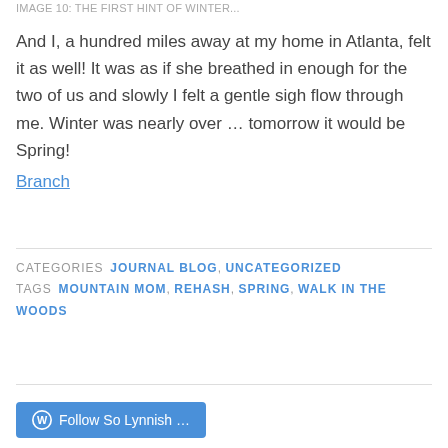IMAGE 10: THE FIRST HINT OF WINTER...
And I, a hundred miles away at my home in Atlanta, felt it as well! It was as if she breathed in enough for the two of us and slowly I felt a gentle sigh flow through me. Winter was nearly over … tomorrow it would be Spring!
Branch
CATEGORIES  JOURNAL BLOG, UNCATEGORIZED
TAGS  MOUNTAIN MOM, REHASH, SPRING, WALK IN THE WOODS
Follow So Lynnish ...